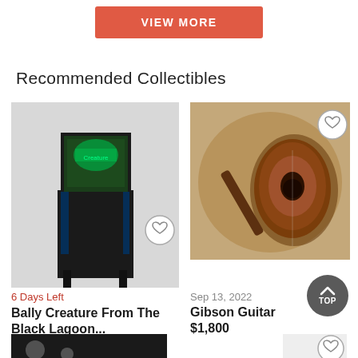VIEW MORE
Recommended Collectibles
[Figure (photo): Bally Creature From The Black Lagoon pinball machine]
[Figure (photo): Gibson Guitar in open brown case]
6 Days Left
Sep 13, 2022
Bally Creature From The Black Lagoon...
Gibson Guitar
$5,500
$1,800
[Figure (photo): Partial image of another collectible item at bottom left]
[Figure (photo): Partial image of another collectible item at bottom right]